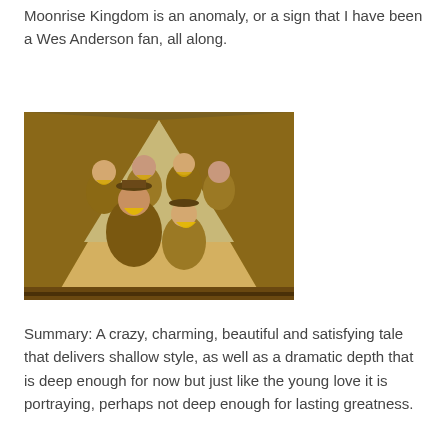Moonrise Kingdom is an anomaly, or a sign that I have been a Wes Anderson fan, all along.
[Figure (photo): A film still from Moonrise Kingdom showing a group of boy scouts in khaki uniforms with yellow scarves gathered inside a large tent, looking outward toward the camera.]
Summary: A crazy, charming, beautiful and satisfying tale that delivers shallow style, as well as a dramatic depth that is deep enough for now but just like the young love it is portraying, perhaps not deep enough for lasting greatness.